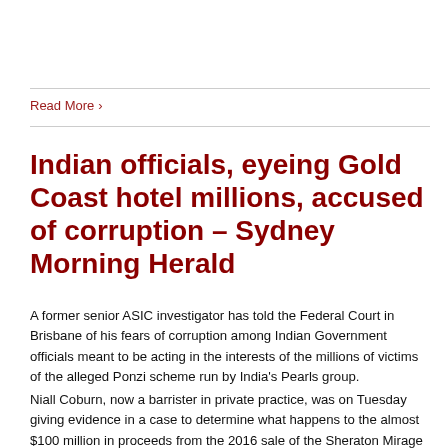Read More ›
Indian officials, eyeing Gold Coast hotel millions, accused of corruption – Sydney Morning Herald
A former senior ASIC investigator has told the Federal Court in Brisbane of his fears of corruption among Indian Government officials meant to be acting in the interests of the millions of victims of the alleged Ponzi scheme run by India's Pearls group.
Niall Coburn, now a barrister in private practice, was on Tuesday giving evidence in a case to determine what happens to the almost $100 million in proceeds from the 2016 sale of the Sheraton Mirage